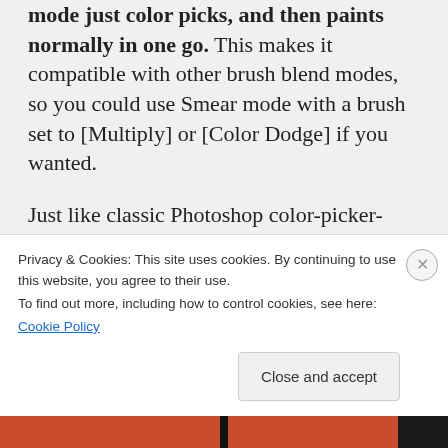mode just color picks, and then paints normally in one go. This makes it compatible with other brush blend modes, so you could use Smear mode with a brush set to [Multiply] or [Color Dodge] if you wanted.
Just like classic Photoshop color-picker-and-paint techniques, a smooth blending effect comes from soft brush shapes, painting repeatedly with lowered opacity, and selecting a color between two colors. The added benefit of Smear mode is that it can fade out the
Privacy & Cookies: This site uses cookies. By continuing to use this website, you agree to their use.
To find out more, including how to control cookies, see here:
Cookie Policy